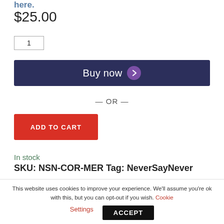$25.00
1
Buy now
— OR —
ADD TO CART
In stock
SKU: NSN-COR-MER Tag: NeverSayNever
This website uses cookies to improve your experience. We'll assume you're ok with this, but you can opt-out if you wish. Cookie Settings ACCEPT